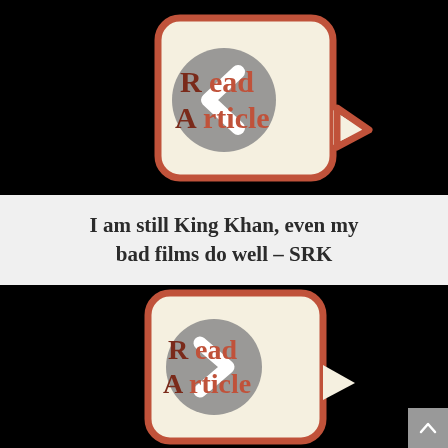[Figure (screenshot): Black background with a 'Read Article' button icon showing a left-pointing chevron arrow in a gray circle, overlaid on a cream/beige rounded square with red border and a speech bubble tail pointing right. Text 'Read Article' in dark red on the button.]
I am still King Khan, even my bad films do well – SRK
[Figure (screenshot): Black background with a 'Read Article' button icon showing a right-pointing chevron arrow in a gray circle, overlaid on a cream/beige rounded square with red border and a speech bubble tail pointing right. Text 'Read Article' in dark red on the button.]